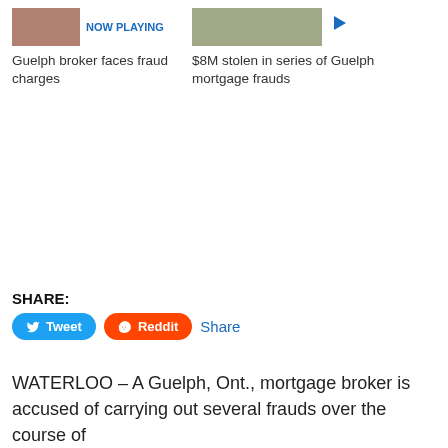[Figure (photo): Small thumbnail of a person, labeled NOW PLAYING]
Guelph broker faces fraud charges
[Figure (photo): Small thumbnail of a road/outdoor scene with a play button]
$8M stolen in series of Guelph mortgage frauds
SHARE:
Tweet  Reddit  Share
WATERLOO – A Guelph, Ont., mortgage broker is accused of carrying out several frauds over the course of